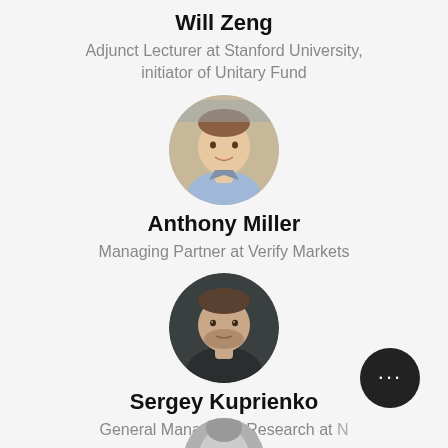Will Zeng
Adjunct Lecturer at Stanford University, initiator of Unitary Fund
[Figure (photo): Circular profile photo of Anthony Miller]
Anthony Miller
Managing Partner at Verify Markets
[Figure (photo): Circular profile photo of Sergey Kuprienko]
Sergey Kuprienko
General Manager of Research at [truncated]
[Figure (photo): Partial circular profile photo at bottom of page, partially cut off]